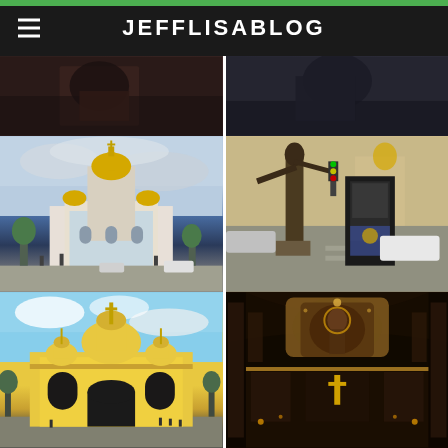JEFFLISABLOG
[Figure (photo): Dark indoor photo, partial view - top left]
[Figure (photo): Dark indoor photo, partial view - top right]
[Figure (photo): Saint Michael's Golden-Domed Monastery, Kyiv, Ukraine - white and blue church with golden domes against cloudy sky]
[Figure (photo): Bronze statue in foreground with a city square, kiosk with Ukrainian police markings, cars in background]
[Figure (photo): St. Volodymyr's Cathedral, Kyiv - large yellow cathedral with domes against blue sky]
[Figure (photo): Interior of an ornate Orthodox cathedral with golden mosaics, iconostasis with cross, candles]
[Figure (photo): Partial view of building with blue/teal roof - bottom left]
[Figure (photo): Partial view of stone or concrete structure - bottom right]